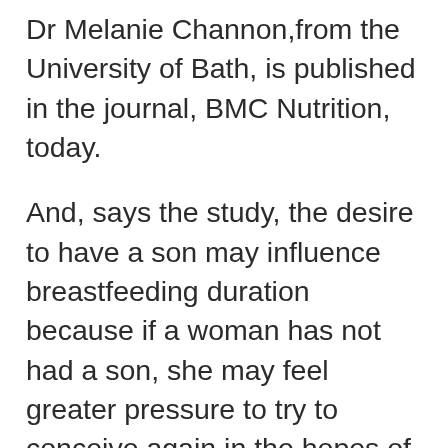Dr Melanie Channon,from the University of Bath, is published in the journal, BMC Nutrition, today.
And, says the study, the desire to have a son may influence breastfeeding duration because if a woman has not had a son, she may feel greater pressure to try to conceive again in the hopes of having a boy.